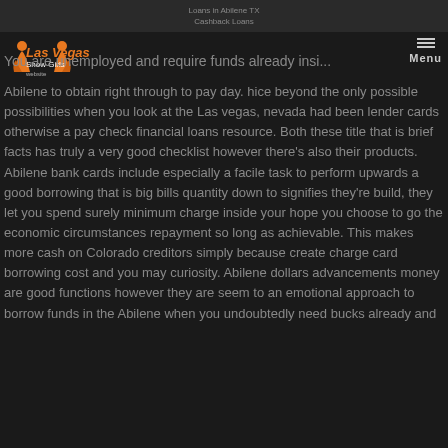Loans in Abilene TX
Cashback Loans
[Figure (logo): Las Vegas Show Girls website logo with silhouettes of showgirls in orange/gold on dark background]
You are unemployed and require funds already inside...
Abilene to obtain right through to pay day. hice beyond the only possible possibilities when you look at the Las vegas, nevada had been lender cards otherwise a pay check financial loans resource. Both these title that is brief facts has truly a very good checklist however there's also their products. Abilene bank cards include especially a facile task to perform upwards a good borrowing that is big bills quantity down to signifies they're build, they let you spend surely minimum charge inside your hope you choose to go the economic circumstances repayment so long as achievable. This makes more cash on Colorado creditors simply because create charge card borrowing cost and you may curiosity. Abilene dollars advancements money are good functions however they are seem to an emotional approach to borrow funds in the Abilene when you undoubtedly need bucks already and